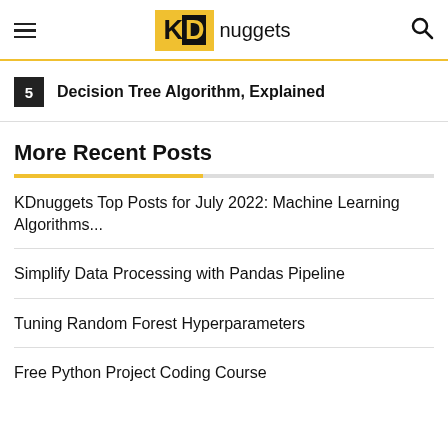KDnuggets
5 Decision Tree Algorithm, Explained
More Recent Posts
KDnuggets Top Posts for July 2022: Machine Learning Algorithms...
Simplify Data Processing with Pandas Pipeline
Tuning Random Forest Hyperparameters
Free Python Project Coding Course